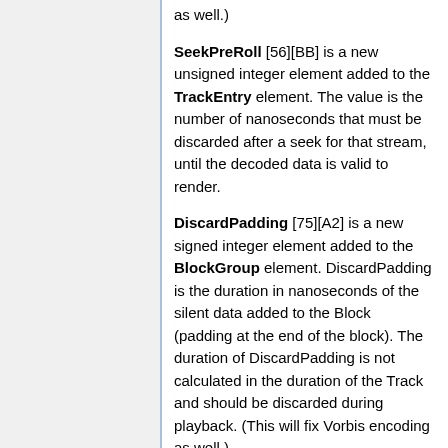as well.)
SeekPreRoll [56][BB] is a new unsigned integer element added to the TrackEntry element. The value is the number of nanoseconds that must be discarded after a seek for that stream, until the decoded data is valid to render.
DiscardPadding [75][A2] is a new signed integer element added to the BlockGroup element. DiscardPadding is the duration in nanoseconds of the silent data added to the Block (padding at the end of the block). The duration of DiscardPadding is not calculated in the duration of the Track and should be discarded during playback. (This will fix Vorbis encoding as well.)
Muxing Recommendations